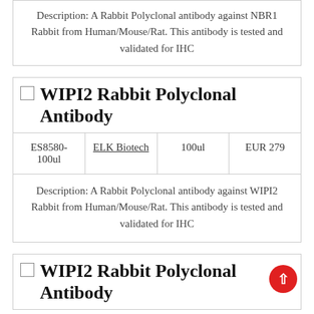Description: A Rabbit Polyclonal antibody against NBR1 Rabbit from Human/Mouse/Rat. This antibody is tested and validated for IHC
WIPI2 Rabbit Polyclonal Antibody
|  | ELK Biotech | 100ul | EUR 279 |
| --- | --- | --- | --- |
| ES8580-100ul | ELK Biotech | 100ul | EUR 279 |
Description: A Rabbit Polyclonal antibody against WIPI2 Rabbit from Human/Mouse/Rat. This antibody is tested and validated for IHC
WIPI2 Rabbit Polyclonal Antibody